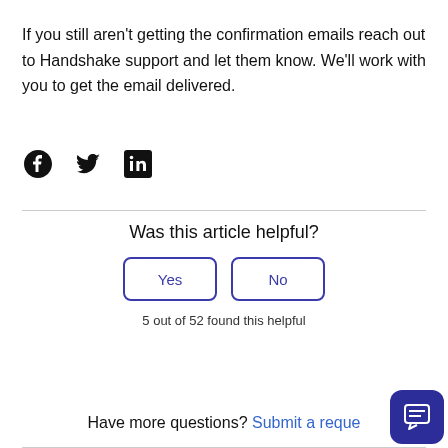If you still aren't getting the confirmation emails reach out to Handshake support and let them know. We'll work with you to get the email delivered.
[Figure (illustration): Social share icons: Facebook, Twitter, LinkedIn]
Was this article helpful?
Yes   No
5 out of 52 found this helpful
Have more questions? Submit a reque...
[Figure (illustration): Chat support widget button in dark blue with message icon]